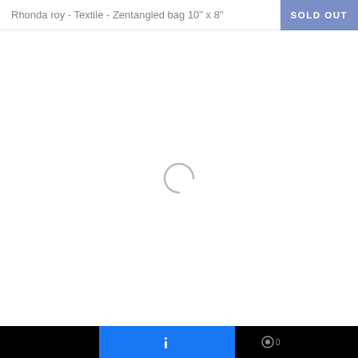Rhonda roy - Textile - Zentangled bag 10" x 8"
SOLD OUT
[Figure (other): Loading spinner — a partial circle arc in light gray, indicating content is loading]